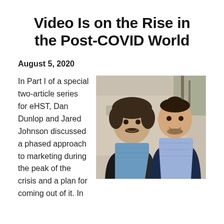Video Is on the Rise in the Post-COVID World
August 5, 2020
[Figure (photo): Two men smiling for a photo outdoors, standing close together. The man on the left has curly dark hair and a mustache, wearing a blue checked shirt. The man on the right has styled dark hair and is wearing a blue blazer with a light checked shirt.]
In Part I of a special two-article series for eHST, Dan Dunlop and Jared Johnson discussed a phased approach to marketing during the peak of the crisis and a plan for coming out of it. In